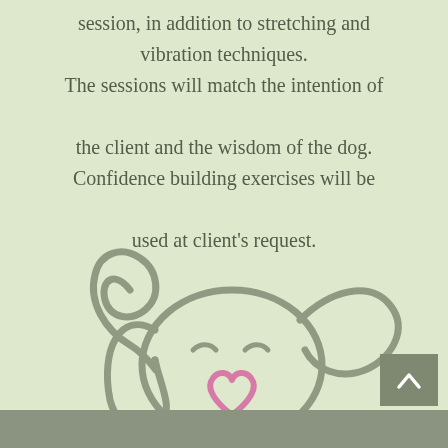session, in addition to stretching and vibration techniques. The sessions will match the intention of the client and the wisdom of the dog. Confidence building exercises will be used at client's request.
[Figure (illustration): Line drawing illustration of a dog face with long floppy ears, closed smiling eyes, and a pink heart-shaped nose/mouth. Drawn in a loose, flowing gray line art style on a light green background.]